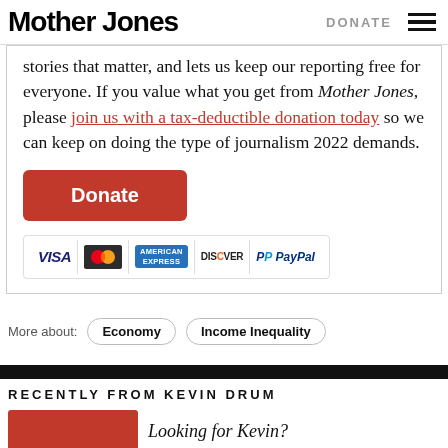Mother Jones | DONATE
stories that matter, and lets us keep our reporting free for everyone. If you value what you get from Mother Jones, please join us with a tax-deductible donation today so we can keep on doing the type of journalism 2022 demands.
[Figure (other): Orange Donate button followed by payment method icons: VISA, MasterCard, American Express, Discover, PayPal]
More about: Economy  Income Inequality
RECENTLY FROM KEVIN DRUM
Looking for Kevin?